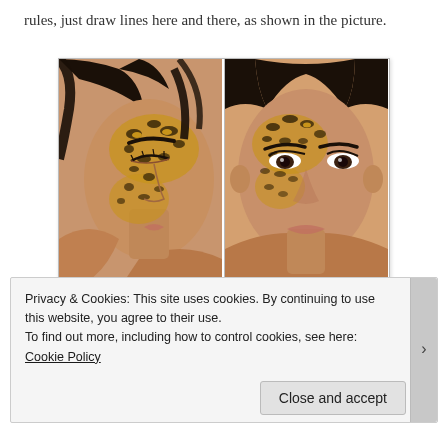rules, just draw lines here and there, as shown in the picture.
[Figure (photo): Two side-by-side photos of a woman with leopard print face makeup — left photo shows her in profile/three-quarter view with eyes closed, right photo shows her facing forward.]
Privacy & Cookies: This site uses cookies. By continuing to use this website, you agree to their use.
To find out more, including how to control cookies, see here: Cookie Policy
Close and accept